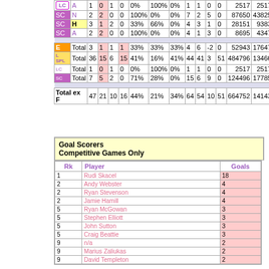|  |  |  |  |  |  |  |  |  |  |  |  |  |  |  |
| --- | --- | --- | --- | --- | --- | --- | --- | --- | --- | --- | --- | --- | --- | --- |
| LC | A | 1 | 0 | 1 | 0 | 0% | 100% | 0% | 1 | 1 | 0 | 0 | 2517 | 2517 |
| SC | N | 2 | 2 | 0 | 0 | 100% | 0% | 0% | 7 | 2 | 5 | 0 | 87650 | 43825 |
| SC | H | 3 | 1 | 2 | 0 | 33% | 66% | 0% | 4 | 3 | 1 | 0 | 28151 | 9383 |
| SC | A | 2 | 2 | 0 | 0 | 100% | 0% | 0% | 4 | 1 | 3 | 0 | 8695 | 4347 |
| E | Total | 3 | 1 | 1 | 1 | 33% | 33% | 33% | 4 | 6 | -2 | 0 | 52943 | 17647 |
| L SPL | Total | 36 | 15 | 6 | 15 | 41% | 16% | 41% | 44 | 41 | 3 | 51 | 484796 | 13466 |
| LC | Total | 1 | 0 | 1 | 0 | 0% | 100% | 0% | 1 | 1 | 0 | 0 | 2517 | 2517 |
| SC | Total | 7 | 5 | 2 | 0 | 71% | 28% | 0% | 15 | 6 | 9 | 0 | 124496 | 17785 |
| Total ex F |  | 47 | 21 | 10 | 16 | 44% | 21% | 34% | 64 | 54 | 10 | 51 | 664752 | 14143 |
| Rk | Player | Goals |
| --- | --- | --- |
| 1 | Rudi Skacel | 18 |
| 2 | Andy Webster | 4 |
| 2 | Ryan Stevenson | 4 |
| 2 | Jamie Hamill | 4 |
| 5 | Ryan McGowan | 3 |
| 5 | Stephen Elliott | 3 |
| 5 | John Sutton | 3 |
| 5 | Craig Beattie | 3 |
| 9 | n/a | 2 |
| 9 | Marius Zaliukas | 2 |
| 9 | David Templeton | 2 |